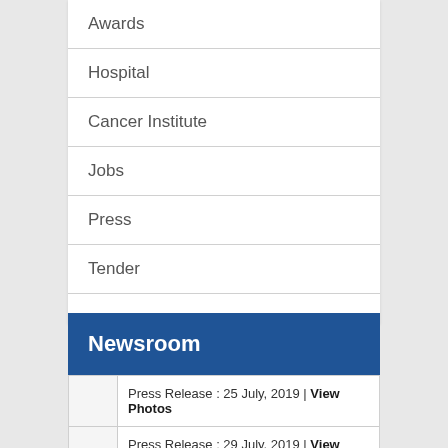Awards
Hospital
Cancer Institute
Jobs
Press
Tender
Newsroom
Press Release : 25 July, 2019 | View Photos
Press Release : 29 July, 2019 | View Photos